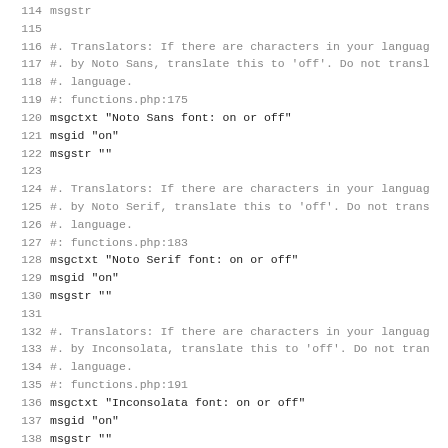Code listing lines 114–146 of a .po translation file
114 msgstr
115
116 #. Translators: If there are characters in your langua
117 #. by Noto Sans, translate this to 'off'. Do not trans
118 #. language.
119 #: functions.php:175
120 msgctxt "Noto Sans font: on or off"
121 msgid "on"
122 msgstr ""
123
124 #. Translators: If there are characters in your langua
125 #. by Noto Serif, translate this to 'off'. Do not trans
126 #. language.
127 #: functions.php:183
128 msgctxt "Noto Serif font: on or off"
129 msgid "on"
130 msgstr ""
131
132 #. Translators: If there are characters in your langua
133 #. by Inconsolata, translate this to 'off'. Do not tran
134 #. language.
135 #: functions.php:191
136 msgctxt "Inconsolata font: on or off"
137 msgid "on"
138 msgstr ""
139
140 #. Translators: To add an additional character subset s
141 #. language, translate this to 'greek', 'cyrillic', 'de
142 #. 'vietnamese'. Do not translate into your own languag
143 #: functions.php:199
144 msgctxt "Add new subset (greek, cyrillic, devanagari, v
145 msgid "no-subset"
146 msgstr ""